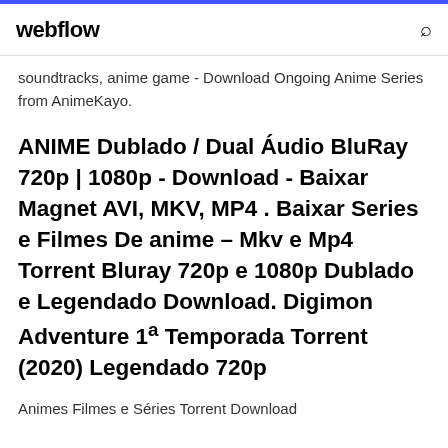webflow
soundtracks, anime game - Download Ongoing Anime Series from AnimeKayo.
ANIME Dublado / Dual Áudio BluRay 720p | 1080p - Download - Baixar Magnet AVI, MKV, MP4 . Baixar Series e Filmes De anime – Mkv e Mp4 Torrent Bluray 720p e 1080p Dublado e Legendado Download. Digimon Adventure 1ª Temporada Torrent (2020) Legendado 720p
Animes Filmes e Séries Torrent Download